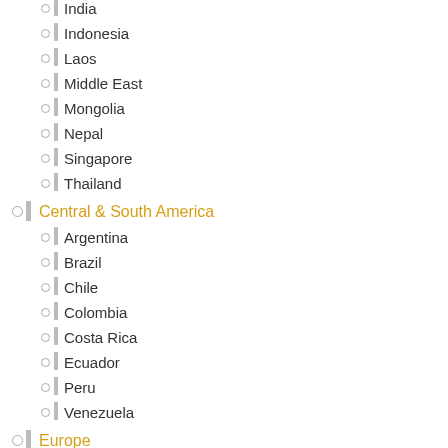India
Indonesia
Laos
Middle East
Mongolia
Nepal
Singapore
Thailand
Central & South America
Argentina
Brazil
Chile
Colombia
Costa Rica
Ecuador
Peru
Venezuela
Europe